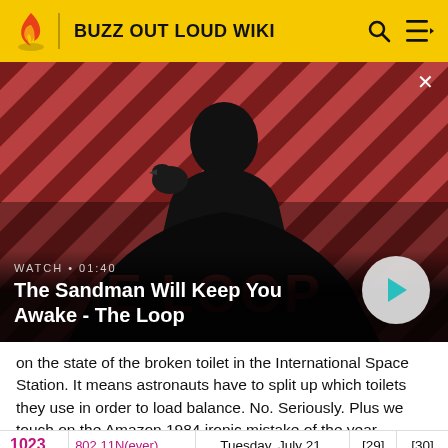BUZZ OUT LOUD WIKI
[Figure (screenshot): Video thumbnail for 'The Sandman Will Keep You Awake - The Loop' with a dark-cloaked figure with a raven on shoulder against a red diagonal striped background. Watch label shows '01:40'. A play button is visible on the right.]
on the state of the broken toilet in the International Space Station. It means astronauts have to split up which toilets they use in order to load balance. No. Seriously. Plus we touch on the Amazon 1984 ironic mistake of the year.
Download Video
|  |  |  |  |  |
| --- | --- | --- | --- | --- |
| 1023 | 802.11N(ever) | Tuesday, July 21, | [29] | [30] |